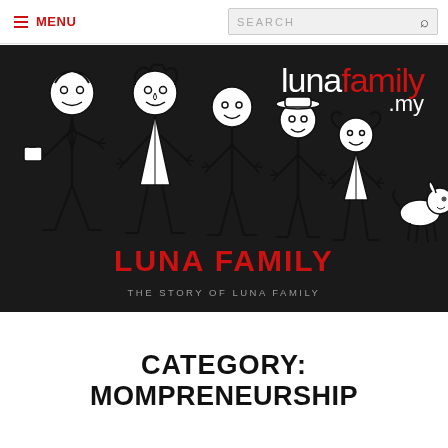≡ MENU  SEARCH
[Figure (illustration): Dark banner with stick figure family illustration (father, mother, children, dog) and the lunafamily.my logo. Below the figures: 'LUNA FAMILY' in red bold text and 'THE STORY OF LUNA FAMILY' in grey text.]
CATEGORY: MOMPRENEURSHIP